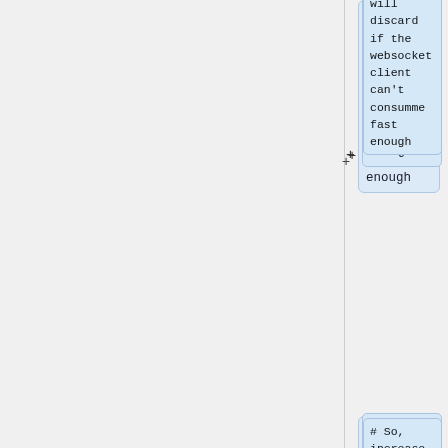will
discard if
the
websocket
client
can't
consumme
fast enough
# So,
increase
the max
size as per
your choice
BUF_MAX_SIZE
 = CHUNK *
10
# Buffer to
store audio
q =